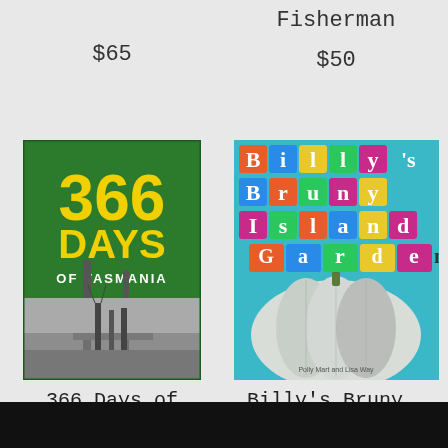$65
Fisherman
$50
[Figure (illustration): Book cover: 366 Days of Tasmania — green background with bold yellow text '366 DAYS OF TASMANIA' and a black-and-white photo of industrial/port scene below]
[Figure (illustration): Book cover: Billy's Bruny Island Garden — colorful teal background with stylized text and illustration of a large white pumpkin]
366 Days of Tasmania
Billy's Bruny Island Garden
$55
$30